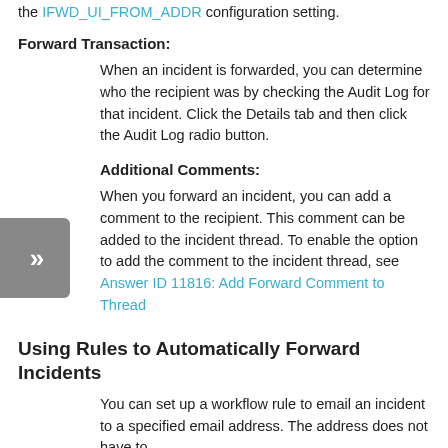the IFWD_UI_FROM_ADDR configuration setting.
Forward Transaction:
When an incident is forwarded, you can determine who the recipient was by checking the Audit Log for that incident. Click the Details tab and then click the Audit Log radio button.
Additional Comments:
When you forward an incident, you can add a comment to the recipient. This comment can be added to the incident thread. To enable the option to add the comment to the incident thread, see Answer ID 11816: Add Forward Comment to Thread
Using Rules to Automatically Forward Incidents
You can set up a workflow rule to email an incident to a specified email address. The address does not have to